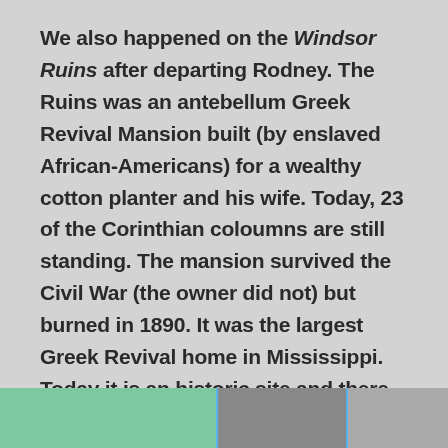We also happened on the Windsor Ruins after departing Rodney. The Ruins was an antebellum Greek Revival Mansion built (by enslaved African-Americans) for a wealthy cotton planter and his wife. Today, 23 of the Corinthian coloumns are still standing. The mansion survived the Civil War (the owner did not) but burned in 1890. It was the largest Greek Revival home in Mississippi. Today it is an historic site and there are plans to complete some restoration of the columns and the grounds. For more information: https://www.mdah.ms.gov/explore-mississippi/windsor-ruins
[Figure (photo): Three photos in a horizontal strip at the bottom of the page showing Windsor Ruins columns and related imagery.]